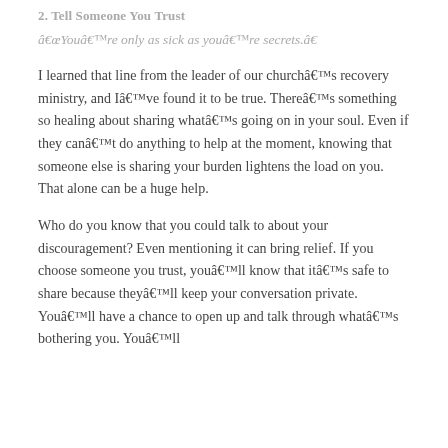2. Tell Someone You Trust
â€œYouâ€™re only as sick as youâ€™re secrets.â€
I learned that line from the leader of our churchâ€™s recovery ministry, and Iâ€™ve found it to be true. Thereâ€™s something so healing about sharing whatâ€™s going on in your soul. Even if they canâ€™t do anything to help at the moment, knowing that someone else is sharing your burden lightens the load on you. That alone can be a huge help.
Who do you know that you could talk to about your discouragement? Even mentioning it can bring relief. If you choose someone you trust, youâ€™ll know that itâ€™s safe to share because theyâ€™ll keep your conversation private. Youâ€™ll have a chance to open up and talk through whatâ€™s bothering you. Youâ€™ll